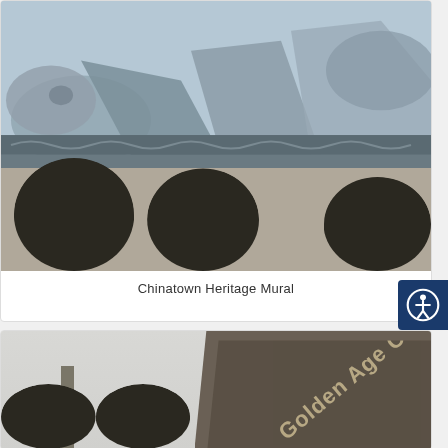[Figure (photo): Photograph of the Chinatown Heritage Mural on a brick wall, showing a traditional Chinese landscape painting with mountains and figures, with decorative border. Dark trees/bushes visible in front of the lower portion of the wall.]
Chinatown Heritage Mural
[Figure (photo): Photograph looking upward at urban buildings against a light sky, showing a partial view of what appears to be a building sign reading 'Golden Age Ce...' (truncated). Trees visible on the left side.]